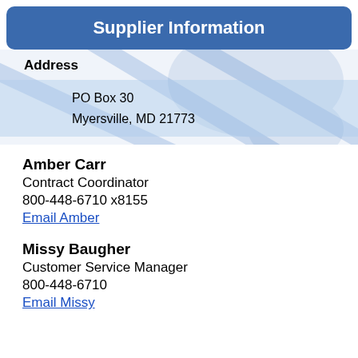Supplier Information
Address
PO Box 30
Myersville, MD 21773
Amber Carr
Contract Coordinator
800-448-6710 x8155
Email Amber
Missy Baugher
Customer Service Manager
800-448-6710
Email Missy